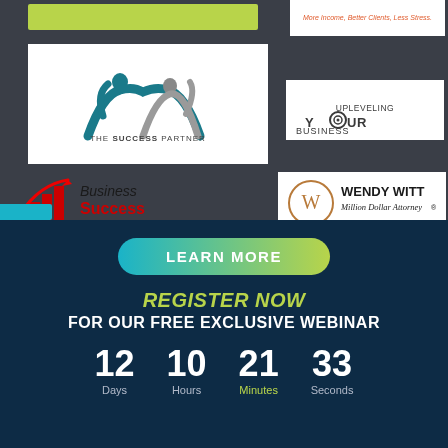[Figure (logo): Lime/yellow-green banner strip at top left]
[Figure (logo): Logo with tagline: More Income, Better Clients, Less Stress]
[Figure (logo): The Success Partner logo with two abstract human figures]
[Figure (logo): Upleveling YOUR Business logo]
[Figure (logo): Business Success Consulting Group logo with red arrow chart]
[Figure (logo): Wendy Witt Million Dollar Attorney logo]
LEARN MORE
REGISTER NOW
FOR OUR FREE EXCLUSIVE WEBINAR
12 Days  10 Hours  21 Minutes  33 Seconds